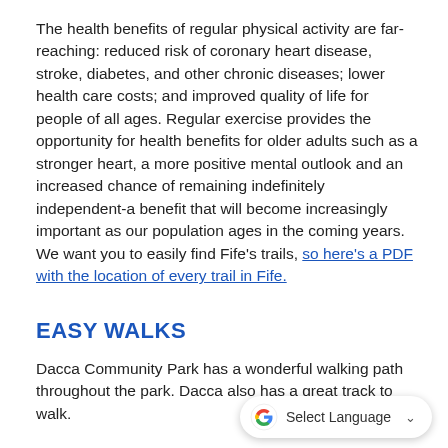The health benefits of regular physical activity are far-reaching: reduced risk of coronary heart disease, stroke, diabetes, and other chronic diseases; lower health care costs; and improved quality of life for people of all ages. Regular exercise provides the opportunity for health benefits for older adults such as a stronger heart, a more positive mental outlook and an increased chance of remaining indefinitely independent-a benefit that will become increasingly important as our population ages in the coming years. We want you to easily find Fife's trails, so here's a PDF with the location of every trail in Fife.
EASY WALKS
Dacca Community Park has a wonderful walking path throughout the park. Dacca also has a great track to walk.